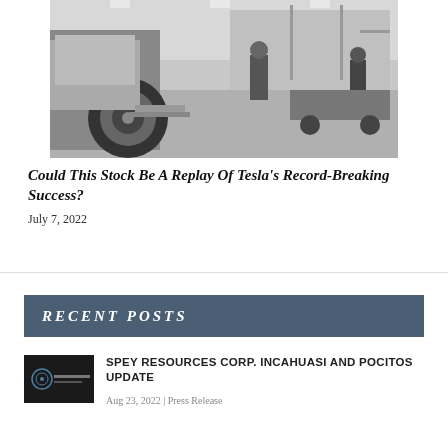[Figure (photo): Black and white photo of a warehouse/factory floor with a small electric vehicle or cart visible on the left and workers in the background]
Could This Stock Be A Replay Of Tesla's Record-Breaking Success?
July 7, 2022
RECENT POSTS
[Figure (logo): Spey Resources Corp logo thumbnail - small dark image with circular logo and text]
SPEY RESOURCES CORP. INCAHUASI AND POCITOS UPDATE
Aug 23, 2022 | Press Release